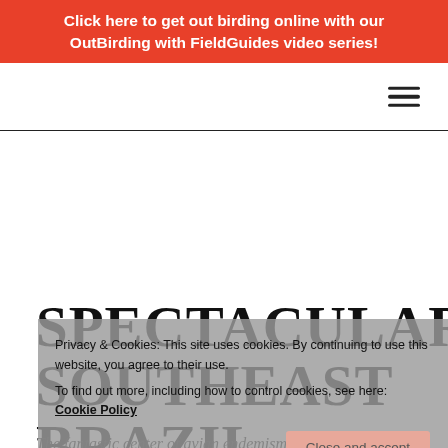Click here to get out birding online with our OutBirding with FieldGuides video series!
[Figure (other): Hamburger menu icon (three horizontal lines) in top-right navigation bar]
SPECTACULAR SOUTHEAST BRAZIL
The fantastic center of avian endemism in eastern
Privacy & Cookies: This site uses cookies. By continuing to use this website, you agree to their use. To find out more, including how to control cookies, see here: Cookie Policy
Close and accept